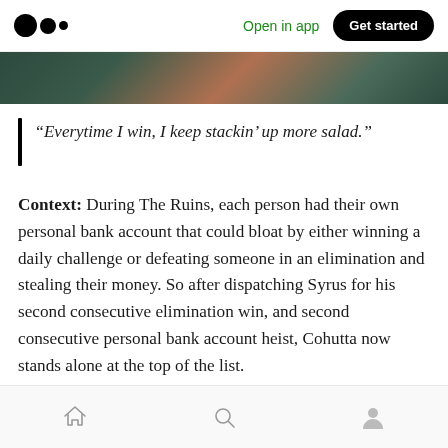Open in app | Get started
[Figure (photo): Partial image strip showing a dark green and warm-toned photo at the top of the article]
“Everytime I win, I keep stackin’ up more salad.”
Context: During The Ruins, each person had their own personal bank account that could bloat by either winning a daily challenge or defeating someone in an elimination and stealing their money. So after dispatching Syrus for his second consecutive elimination win, and second consecutive personal bank account heist, Cohutta now stands alone at the top of the list.
Home | Search | Profile